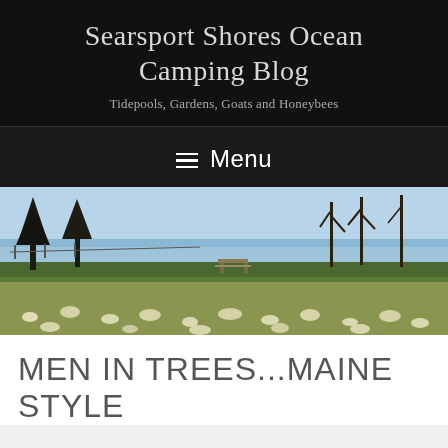Searsport Shores Ocean Camping Blog
Tidepools, Gardens, Goats and Honeybees
≡ Menu
[Figure (photo): Outdoor coastal landscape with trees, a picnic table, ocean water in the background, and white wildflowers in the foreground]
MEN IN TREES...MAINE STYLE